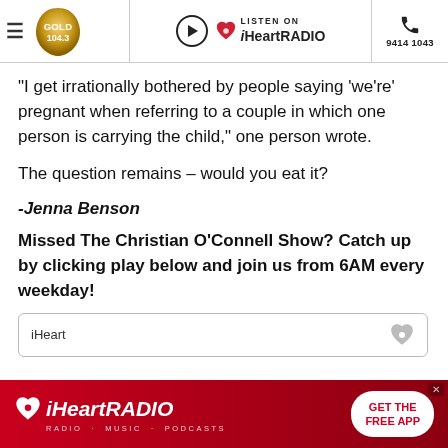Gold 104.3 | Listen on iHeartRadio | 9414 1043
“I get irrationally bothered by people saying ‘we’re’ pregnant when referring to a couple in which one person is carrying the child,” one person wrote.
The question remains – would you eat it?
-Jenna Benson
Missed The Christian O’Connell Show? Catch up by clicking play below and join us from 6AM every weekday!
[Figure (other): iHeart embedded audio player widget box]
[Figure (other): iHeartRadio advertisement banner with GET THE FREE APP button]